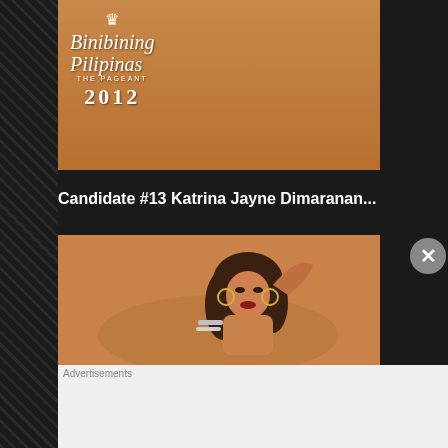[Figure (photo): Partial view of Binibining Pilipinas 2012 pageant image with logo overlay showing crown, cursive text 'Binibining Pilipinas', 'THE PAGEANT' and '2012'. Shows a person's lower body in black swimwear against orange/tan background.]
Candidate #13 Katrina Jayne Dimaranan...
[Figure (photo): Photo of a young woman lying back posing against an orange background, wearing silver hoop earrings and bracelets, with long dark hair.]
Advertisements
[Figure (screenshot): DuckDuckGo advertisement banner on orange background reading 'Search, browse, and email with more privacy. All in One Free App' with DuckDuckGo logo on a phone mockup.]